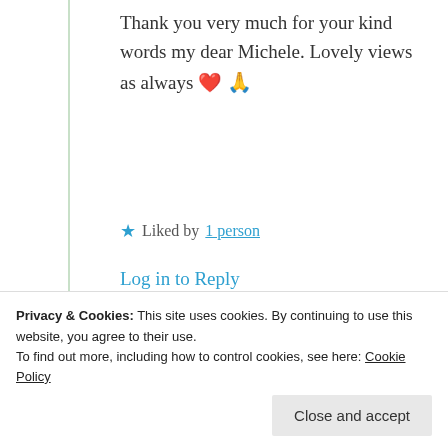Thank you very much for your kind words my dear Michele. Lovely views as always ❤️ 🙏
★ Liked by 1 person
Log in to Reply
Michele Lee
10th Jul 2021 at
Privacy & Cookies: This site uses cookies. By continuing to use this website, you agree to their use.
To find out more, including how to control cookies, see here: Cookie Policy